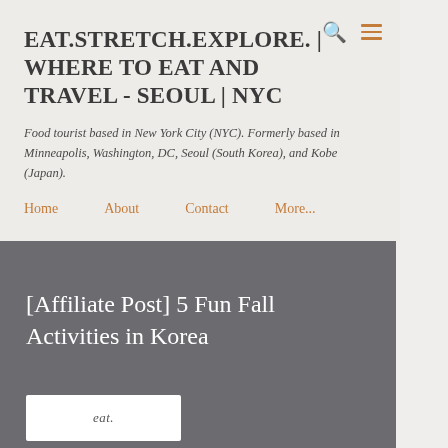EAT.STRETCH.EXPLORE. | WHERE TO EAT AND TRAVEL - SEOUL | NYC
Food tourist based in New York City (NYC). Formerly based in Minneapolis, Washington, DC, Seoul (South Korea), and Kobe (Japan).
Home
About
Contact
More...
[Affiliate Post] 5 Fun Fall Activities in Korea
[Figure (logo): Website logo with 'eat' script text]